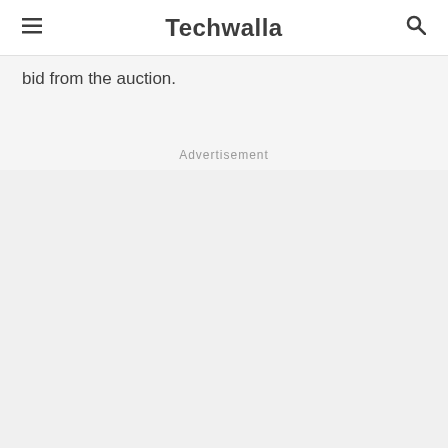Techwalla
bid from the auction.
Advertisement